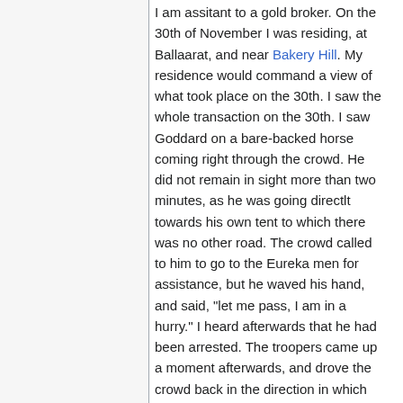I am assitant to a gold broker. On the 30th of November I was residing, at Ballaarat, and near Bakery Hill. My residence would command a view of what took place on the 30th. I saw the whole transaction on the 30th. I saw Goddard on a bare-backed horse coming right through the crowd. He did not remain in sight more than two minutes, as he was going directlt towards his own tent to which there was no other road. The crowd called to him to go to the Eureka men for assistance, but he waved his hand, and said, "let me pass, I am in a hurry." I heard afterwards that he had been arrested. The troopers came up a moment afterwards, and drove the crowd back in the direction in which